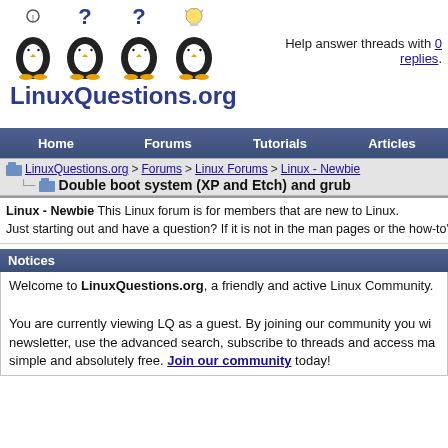[Figure (logo): LinuxQuestions.org logo with four penguins (three with question marks, one with lightbulb) and the text LinuxQuestions.org in blue]
Help answer threads with 0 replies.
Home  Forums  Tutorials  Articles
LinuxQuestions.org > Forums > Linux Forums > Linux - Newbie
Double boot system (XP and Etch) and grub
Linux - Newbie This Linux forum is for members that are new to Linux. Just starting out and have a question? If it is not in the man pages or the how-to's this is t
Notices
Welcome to LinuxQuestions.org, a friendly and active Linux Community. You are currently viewing LQ as a guest. By joining our community you will receive our newsletter, use the advanced search, subscribe to threads and access ma simple and absolutely free. Join our community today!